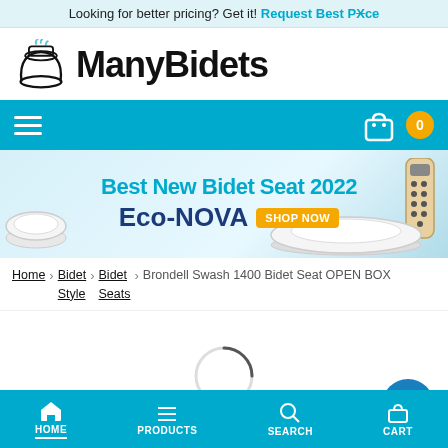Looking for better pricing? Get it! Request Best Price
[Figure (logo): ManyBidets logo with toilet/bidet icon on left and ManyBidets text]
[Figure (infographic): Navigation bar with hamburger menu on left and shopping cart with badge '0' on right on teal background]
[Figure (infographic): Banner advertisement: Best New Bidet Seat 2022, Eco-NOVA, SHOP NOW button, with bidet seat images]
Home > Bidet Style > Bidet Seats > Brondell Swash 1400 Bidet Seat OPEN BOX
[Figure (other): Loading spinner circle in product area]
IN STOCK
HOME   PRODUCTS   SEARCH   CART